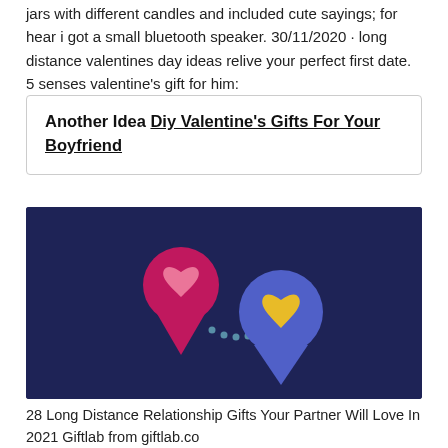jars with different candles and included cute sayings; for hear i got a small bluetooth speaker. 30/11/2020 · long distance valentines day ideas relive your perfect first date. 5 senses valentine's gift for him:
Another Idea Diy Valentine&#039;s Gifts For Your Boyfriend
[Figure (illustration): Dark navy blue background illustration showing two map location pins connected by a dotted curved path. Left pin is pink/magenta with a pink heart inside. Right pin is blue/purple with a yellow heart inside.]
28 Long Distance Relationship Gifts Your Partner Will Love In 2021 Giftlab from giftlab.co